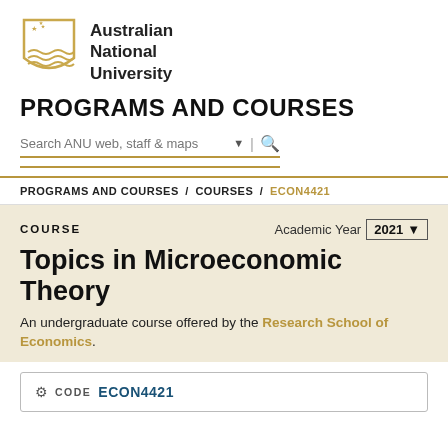[Figure (logo): Australian National University crest/shield logo in gold with stars and wave patterns]
Australian National University
PROGRAMS AND COURSES
Search ANU web, staff & maps
PROGRAMS AND COURSES / COURSES / ECON4421
COURSE
Academic Year 2021
Topics in Microeconomic Theory
An undergraduate course offered by the Research School of Economics.
CODE ECON4421